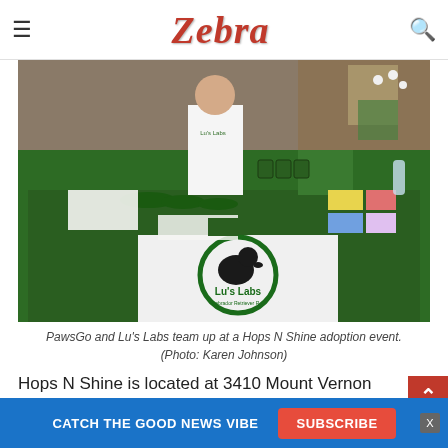Zebra
[Figure (photo): Two people standing behind a green-draped vendor table with Lu's Labs Labrador Retriever branding, displaying merchandise including mugs, hats, bandanas, and other pet-related products at an outdoor adoption event.]
PawsGo and Lu's Labs team up at a Hops N Shine adoption event. (Photo: Karen Johnson)
Hops N Shine is located at 3410 Mount Vernon Avenue in